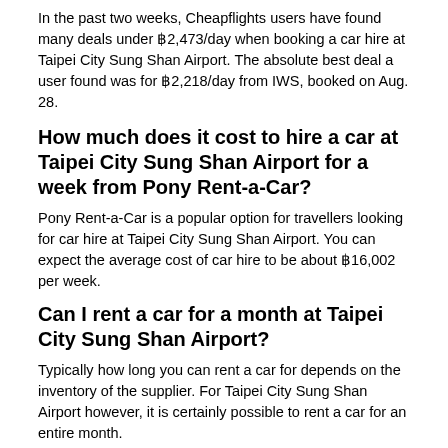In the past two weeks, Cheapflights users have found many deals under ฿2,473/day when booking a car hire at Taipei City Sung Shan Airport. The absolute best deal a user found was for ฿2,218/day from IWS, booked on Aug. 28.
How much does it cost to hire a car at Taipei City Sung Shan Airport for a week from Pony Rent-a-Car?
Pony Rent-a-Car is a popular option for travellers looking for car hire at Taipei City Sung Shan Airport. You can expect the average cost of car hire to be about ฿16,002 per week.
Can I rent a car for a month at Taipei City Sung Shan Airport?
Typically how long you can rent a car for depends on the inventory of the supplier. For Taipei City Sung Shan Airport however, it is certainly possible to rent a car for an entire month.